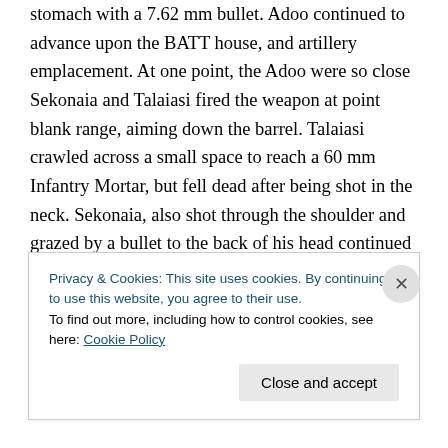stomach with a 7.62 mm bullet. Adoo continued to advance upon the BATT house, and artillery emplacement. At one point, the Adoo were so close Sekonaia and Talaiasi fired the weapon at point blank range, aiming down the barrel. Talaiasi crawled across a small space to reach a 60 mm Infantry Mortar, but fell dead after being shot in the neck. Sekonaia, also shot through the shoulder and grazed by a bullet to the back of his head continued to fire at the approaching Adoo with his personal weapon. The squad signaller sent messages through to the main Forward Operation Base to request in urgent re-inforcement.
Privacy & Cookies: This site uses cookies. By continuing to use this website, you agree to their use.
To find out more, including how to control cookies, see here: Cookie Policy
[Close and accept button]